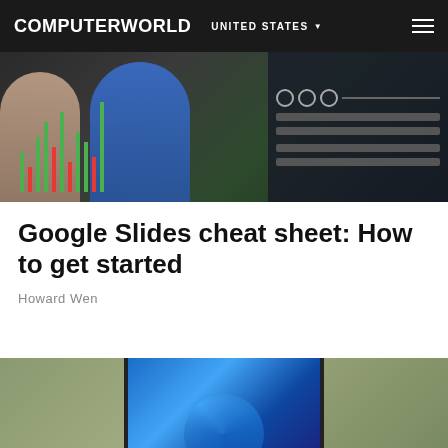COMPUTERWORLD  UNITED STATES
[Figure (photo): People standing in front of large screens displaying stock market charts and data dashboards]
Google Slides cheat sheet: How to get started
Howard Wen
[Figure (photo): Laptop computer displaying Windows 11 desktop with blue swirl logo against a muted green background]